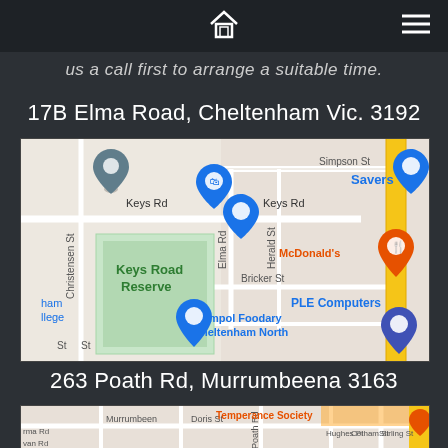Home menu
us a call first to arrange a suitable time.
17B Elma Road, Cheltenham Vic. 3192
[Figure (map): Google Maps view showing 17B Elma Road, Cheltenham area. Shows Keys Road, Keys Road Reserve, Elma Rd, Herald St, Bricker St, Christensen St, Simpson St, Savers store, McDonald's, PLE Computers, Ampol Foodary Cheltenham North. Multiple blue map pins and an orange McDonald's pin visible. Yellow road (major arterial) on right side.]
263 Poath Rd, Murrumbeena 3163
[Figure (map): Google Maps view showing 263 Poath Rd, Murrumbeena area. Shows Murrumbeena road, Doris St, Poath Rd, Temperance Society label in orange, and surrounding streets including Hughes Pl, Cotham St, Stirling St, Varma Rd, Sarvan Rd. Partially visible at bottom of page.]